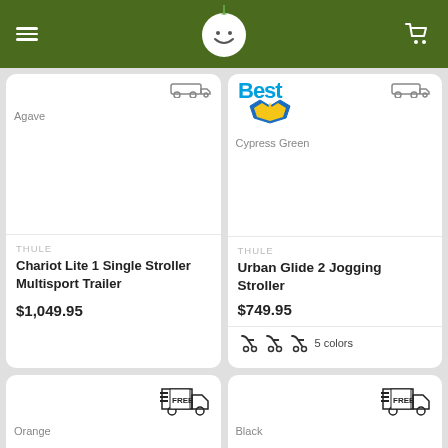Baby Earth navigation header with logo and cart
[Figure (photo): Product card: Thule Chariot Lite 1 Single Stroller Multisport Trailer, Agave color, $1,049.95]
[Figure (photo): Product card: Thule Urban Glide 2 Jogging Stroller, Cypress Green color, $749.95, 5 colors, Best badge]
[Figure (photo): Product card partial: Orange color, free shipping badge]
[Figure (photo): Product card partial: Black color, free shipping badge]